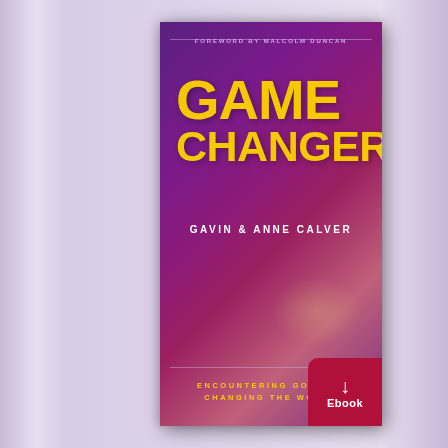FOREWORD BY MALCOLM DUNCAN
[Figure (illustration): Book cover for 'Game Changers' by Gavin & Anne Calver. Purple/magenta gradient background with large yellow bold title text reading GAME CHANGERS, white author name, yellow subtitle ENCOUNTERING GOD AND CHANGING THE WORLD, and an ebook badge in the bottom-right corner.]
GAME CHANGERS
GAVIN & ANNE CALVER
ENCOUNTERING GOD AND CHANGING THE WORLD
Ebook